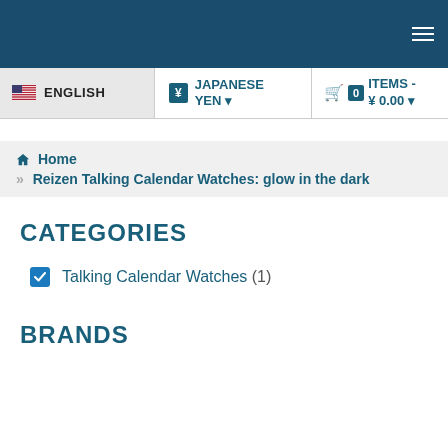Navigation bar with hamburger menu
ENGLISH | ¥ JAPANESE YEN | 0 ITEMS - ¥ 0.00
Home » Reizen Talking Calendar Watches: glow in the dark
CATEGORIES
Talking Calendar Watches (1)
BRANDS